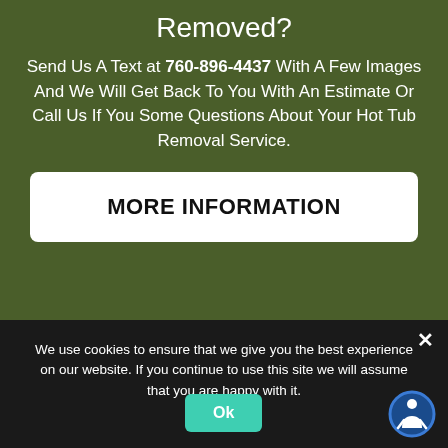Removed?
Send Us A Text at 760-896-4437 With A Few Images And We Will Get Back To You With An Estimate Or Call Us If You Some Questions About Your Hot Tub Removal Service.
MORE INFORMATION
We use cookies to ensure that we give you the best experience on our website. If you continue to use this site we will assume that you are happy with it.
Ok